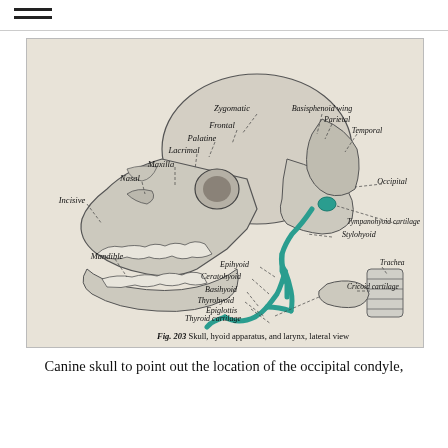≡
[Figure (illustration): Anatomical illustration of a canine skull with hyoid apparatus and larynx, lateral view. Labels identify: Zygomatic, Basisphenoid wing, Frontal, Parietal, Palatine, Temporal, Lacrimal, Occipital, Maxilla, Tympanohyoid cartilage, Nasal, Stylohyoid, Incisive, Mandible, Epihyoid, Ceratohyoid, Basihyoid, Thyrohyoid, Epiglottis, Thyroid cartilage, Cricoid cartilage, Trachea. The hyoid apparatus is highlighted in green/teal. Caption reads: Fig. 203  Skull, hyoid apparatus, and larynx, lateral view.]
Canine skull to point out the location of the occipital condyle,